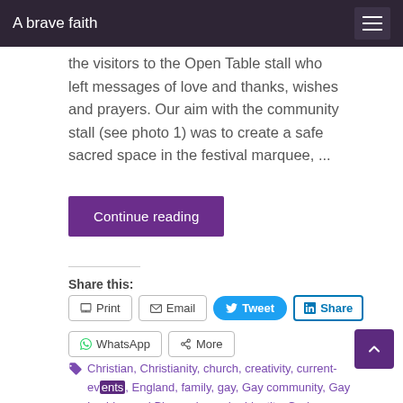A brave faith
the visitors to the Open Table stall who left messages of love and thanks, wishes and prayers. Our aim with the community stall (see photo 1) was to create a safe sacred space in the festival marquee, ...
Continue reading
Share this:
Print  Email  Tweet  Share  WhatsApp  More
Christian, Christianity, church, creativity, current-events, England, family, gay, Gay community, Gay Lesbian and Bisexual, gender identity, God, homophobia, Jesus, LGBT, social movements, Liverpool, Liverpool Pride, Merseyside, Sexual orientation, sexuality, spirituality, theology, trans